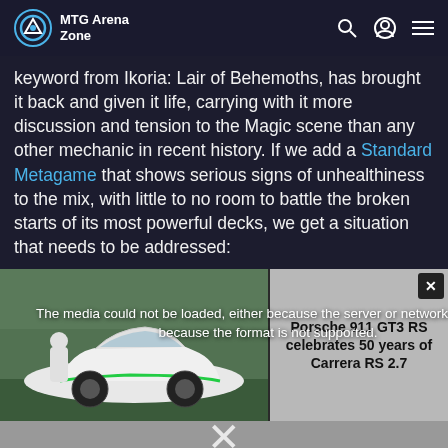MTG Arena Zone
keyword from Ikoria: Lair of Behemoths, has brought it back and given it life, carrying with it more discussion and tension to the Magic scene than any other mechanic in recent history. If we add a Standard Metagame that shows serious signs of unhealthiness to the mix, with little to no room to battle the broken starts of its most powerful decks, we get a situation that needs to be addressed:
[Figure (screenshot): Embedded video player showing a Porsche 911 GT3 RS car, with a media error overlay reading 'The media could not be loaded, either because the server or network failed or because the format is not supported.' A close button (X) is visible. Sidebar shows text 'Porsche 911 GT3 RS celebrates 50 years of Carrera RS 2.7'. A large X dismiss button is shown at the bottom center.]